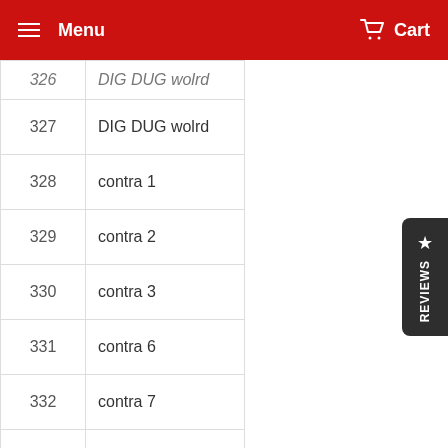Menu   Cart
| # | Name |
| --- | --- |
| 326 | DIG DUG wolrd (partial) |
| 327 | DIG DUG wolrd |
| 328 | contra 1 |
| 329 | contra 2 |
| 330 | contra 3 |
| 331 | contra 6 |
| 332 | contra 7 |
| 333 | contra 8 |